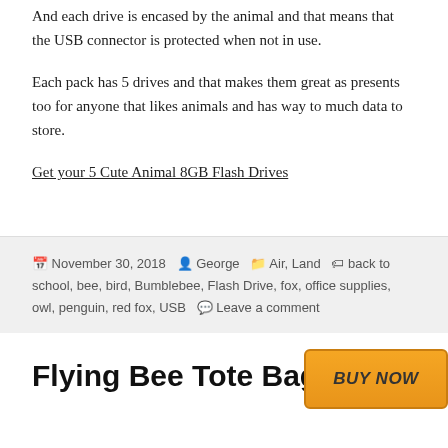And each drive is encased by the animal and that means that the USB connector is protected when not in use.
Each pack has 5 drives and that makes them great as presents too for anyone that likes animals and has way to much data to store.
Get your 5 Cute Animal 8GB Flash Drives
November 30, 2018  George  Air, Land  back to school, bee, bird, Bumblebee, Flash Drive, fox, office supplies, owl, penguin, red fox, USB  Leave a comment
[Figure (other): BUY NOW button in orange]
Flying Bee Tote Bag